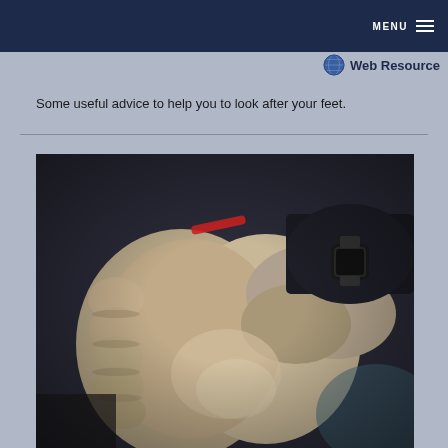MENU
Web Resource
Some useful advice to help you to look after your feet.
[Figure (photo): Close-up photograph of a person's bare feet being held/examined, person wearing a red bracelet and black watch, dark background suggesting clinical or informal foot care context.]